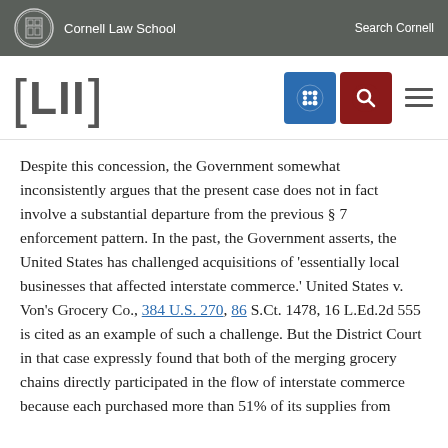Cornell Law School  Search Cornell
[Figure (logo): LII (Legal Information Institute) navigation bar with Cornell Law School header, LII bracket logo, blue grid icon, red search icon, and hamburger menu]
Despite this concession, the Government somewhat inconsistently argues that the present case does not in fact involve a substantial departure from the previous § 7 enforcement pattern. In the past, the Government asserts, the United States has challenged acquisitions of 'essentially local businesses that affected interstate commerce.' United States v. Von's Grocery Co., 384 U.S. 270, 86 S.Ct. 1478, 16 L.Ed.2d 555 is cited as an example of such a challenge. But the District Court in that case expressly found that both of the merging grocery chains directly participated in the flow of interstate commerce because each purchased more than 51% of its supplies from